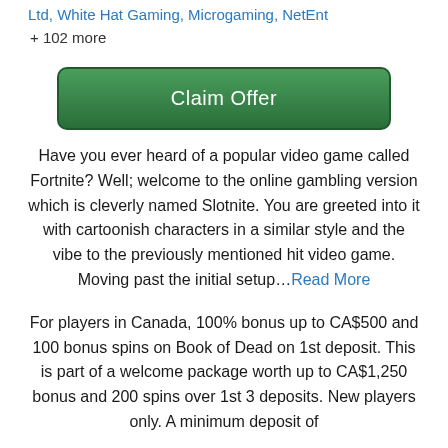Ltd, White Hat Gaming, Microgaming, NetEnt + 102 more
[Figure (other): Green 'Claim Offer' button with gradient background]
Have you ever heard of a popular video game called Fortnite? Well; welcome to the online gambling version which is cleverly named Slotnite. You are greeted into it with cartoonish characters in a similar style and the vibe to the previously mentioned hit video game. Moving past the initial setup…Read More
For players in Canada, 100% bonus up to CA$500 and 100 bonus spins on Book of Dead on 1st deposit. This is part of a welcome package worth up to CA$1,250 bonus and 200 spins over 1st 3 deposits. New players only. A minimum deposit of